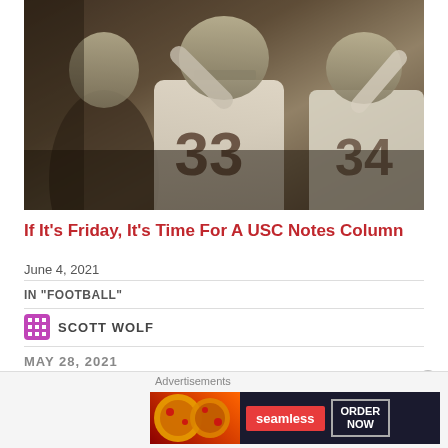[Figure (photo): Football players in white jerseys with numbers 33 and 34, appearing to be USC Trojans players from a vintage era]
If It's Friday, It's Time For A USC Notes Column
June 4, 2021
IN "FOOTBALL"
SCOTT WOLF
MAY 28, 2021
# FEATURED
[Figure (advertisement): Seamless food delivery advertisement with pizza image and ORDER NOW button]